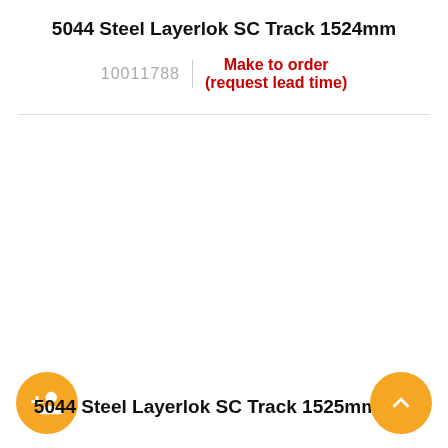5044 Steel Layerlok SC Track 1524mm
10011788 | Make to order (request lead time)
5044 Steel Layerlok SC Track 1525mm